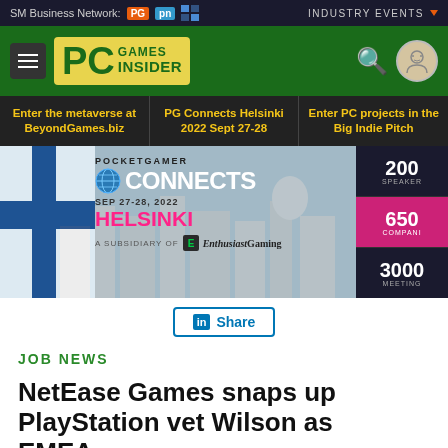SM Business Network: PG | INDUSTRY EVENTS
[Figure (logo): PC Games Insider logo with green background, hamburger menu, search and user icons]
Enter the metaverse at BeyondGames.biz | PG Connects Helsinki 2022 Sept 27-28 | Enter PC projects in the Big Indie Pitch
[Figure (infographic): Pocket Gamer Connects Helsinki SEP 27-28, 2022 banner with Finnish flag, 2000 SPEAKERS, 650 COMPANIES, 3000 MEETINGS stats. A subsidiary of EnthusiastGaming.]
Share
JOB NEWS
NetEase Games snaps up PlayStation vet Wilson as EMEA boss